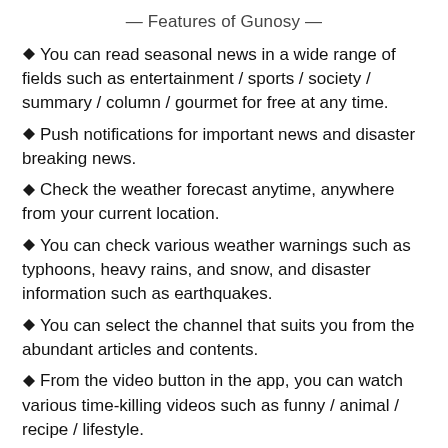— Features of Gunosy —
You can read seasonal news in a wide range of fields such as entertainment / sports / society / summary / column / gourmet for free at any time.
Push notifications for important news and disaster breaking news.
Check the weather forecast anytime, anywhere from your current location.
You can check various weather warnings such as typhoons, heavy rains, and snow, and disaster information such as earthquakes.
You can select the channel that suits you from the abundant articles and contents.
From the video button in the app, you can watch various time-killing videos such as funny / animal / recipe / lifestyle.
You can rearrange the tabs from the icon-> "Edit" at the bottom right of the app top, and customize it for your own convenience.